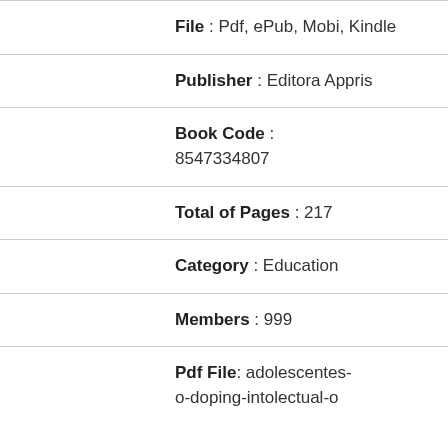File : Pdf, ePub, Mobi, Kindle
Publisher : Editora Appris
Book Code : 8547334807
Total of Pages : 217
Category : Education
Members : 999
Pdf File: adolescentes-o-doping-intolectual-o